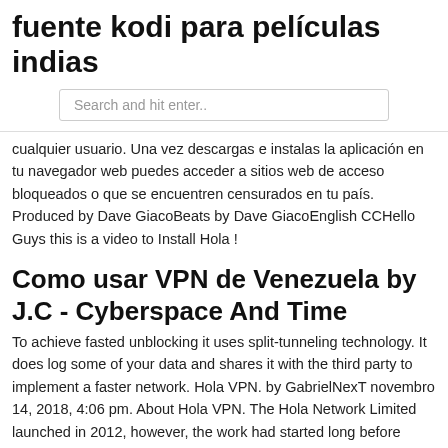fuente kodi para películas indias
Search and hit enter..
cualquier usuario. Una vez descargas e instalas la aplicación en tu navegador web puedes acceder a sitios web de acceso bloqueados o que se encuentren censurados en tu país. Produced by Dave GiacoBeats by Dave GiacoEnglish CCHello Guys this is a video to Install Hola !
Como usar VPN de Venezuela by J.C - Cyberspace And Time
To achieve fasted unblocking it uses split-tunneling technology. It does log some of your data and shares it with the third party to implement a faster network. Hola VPN. by GabrielNexT novembro 14, 2018, 4:06 pm. About Hola VPN. The Hola Network Limited launched in 2012, however, the work had started long before then. Hola VPN has the ultimate goal of providing a better and faster internet through advanced routing technologies. Hola VPN Coupon Code March 2021: Get 10% OFF on Your First Order.